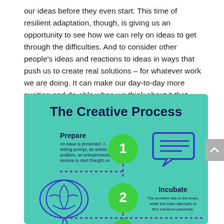our ideas before they even start. This time of resilient adaptation, though, is giving us an opportunity to see how we can rely on ideas to get through the difficulties. And to consider other people's ideas and reactions to ideas in ways that push us to create real solutions – for whatever work we are doing. It can make our day-to-day more exciting and do-able when we think about it that way.
[Figure (infographic): An infographic titled 'The Creative Process' on a teal/mint background. Step 1 (Prepare): A green circle with white '1', a speech bubble icon, and text 'An issue is presented. A writing prompt, an artistic problem, an entrepreneurial venture to start thought on.' Step 2 (Incubate): A green circle with white '2', a brain illustration in blue outline, and text 'The problem sits in the brain, while the brain attempts to find solutions passively.' Steps connected by dotted purple lines.]